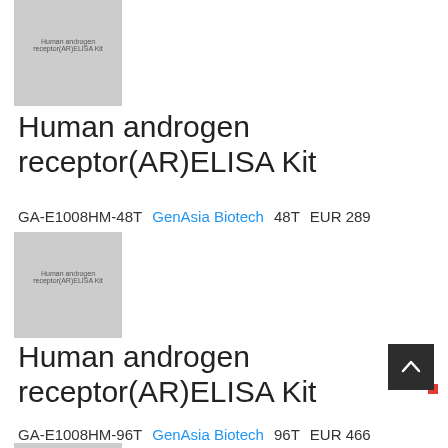[Figure (photo): Product thumbnail image placeholder (gray) with text 'Human androgen receptor(AR)ELISA Kit', first product]
Human androgen receptor(AR)ELISA Kit
GA-E1008HM-48T   GenAsia Biotech   48T   EUR 289
[Figure (photo): Product thumbnail image placeholder (gray) with text 'Human androgen receptor(AR)ELISA Kit', second product]
Human androgen receptor(AR)ELISA Kit
GA-E1008HM-96T   GenAsia Biotech   96T   EUR 466
[Figure (photo): Partial product thumbnail image placeholder (gray/red) at bottom of page]